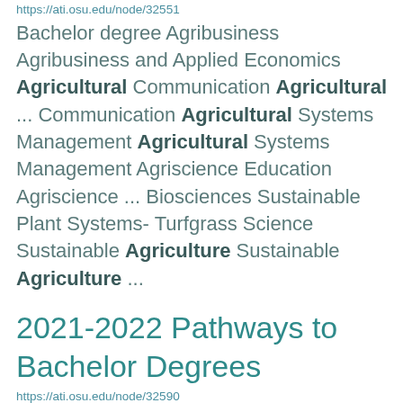https://ati.osu.edu/node/32551
Bachelor degree Agribusiness Agribusiness and Applied Economics Agricultural Communication Agricultural ... Communication Agricultural Systems Management Agricultural Systems Management Agriscience Education Agriscience ... Biosciences Sustainable Plant Systems- Turfgrass Science Sustainable Agriculture Sustainable Agriculture ...
2021-2022 Pathways to Bachelor Degrees
https://ati.osu.edu/node/32590